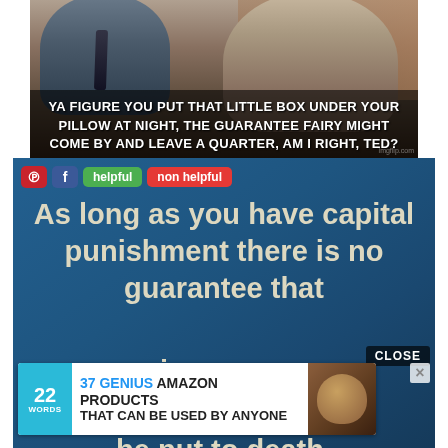[Figure (photo): Movie/TV still showing two men in suits. Subtitle text overlaid: 'YA FIGURE YOU PUT THAT LITTLE BOX UNDER YOUR PILLOW AT NIGHT, THE GUARANTEE FAIRY MIGHT COME BY AND LEAVE A QUARTER, AM I RIGHT, TED?']
[Figure (infographic): Blue background quote card with social sharing buttons (Pinterest, Facebook, helpful, non helpful) and text: 'As long as you have capital punishment there is no guarantee that [innocent people will not] be put to death.' Overlaid ad banner: '37 GENIUS AMAZON PRODUCTS THAT CAN BE USED BY ANYONE' with 22 Words logo.]